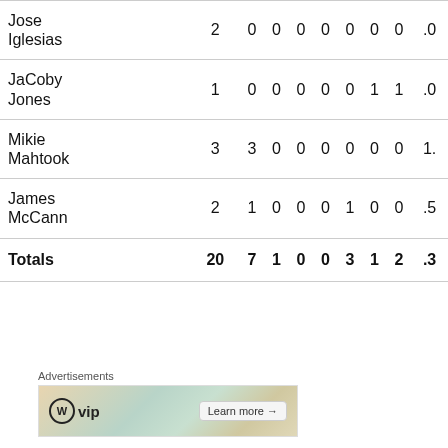| Player | AB | R | H | 2B | 3B | HR | RBI | BB | AVG |
| --- | --- | --- | --- | --- | --- | --- | --- | --- | --- |
| Jose Iglesias | 2 | 0 | 0 | 0 | 0 | 0 | 0 | 0 | .0 |
| JaCoby Jones | 1 | 0 | 0 | 0 | 0 | 0 | 1 | 1 | .0 |
| Mikie Mahtook | 3 | 3 | 0 | 0 | 0 | 0 | 0 | 0 | 1. |
| James McCann | 2 | 1 | 0 | 0 | 0 | 1 | 0 | 0 | .5 |
| Totals | 20 | 7 | 1 | 0 | 0 | 3 | 1 | 2 | .3 |
Advertisements